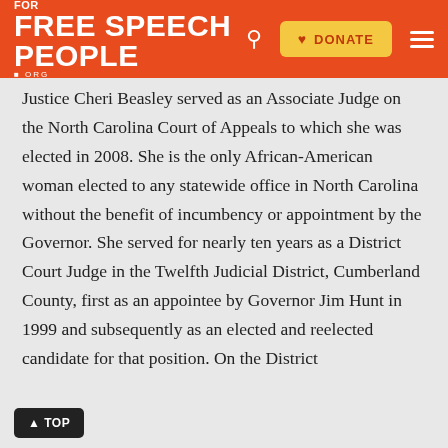Free Speech For People .org — DONATE — navigation header
Justice Cheri Beasley served as an Associate Judge on the North Carolina Court of Appeals to which she was elected in 2008. She is the only African-American woman elected to any statewide office in North Carolina without the benefit of incumbency or appointment by the Governor. She served for nearly ten years as a District Court Judge in the Twelfth Judicial District, Cumberland County, first as an appointee by Governor Jim Hunt in 1999 and subsequently as an elected and reelected candidate for that position. On the District